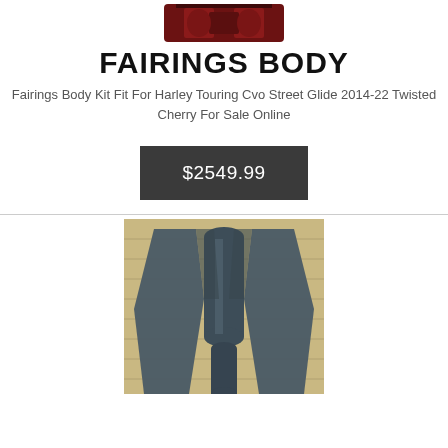[Figure (logo): Partial logo image at top of page, dark red/maroon shaped emblem]
FAIRINGS BODY
Fairings Body Kit Fit For Harley Touring Cvo Street Glide 2014-22 Twisted Cherry For Sale Online
$2549.99
[Figure (photo): Photo of motorcycle fairing body parts in dark gray/slate color, viewed from front/top, against a light wood-panel background]